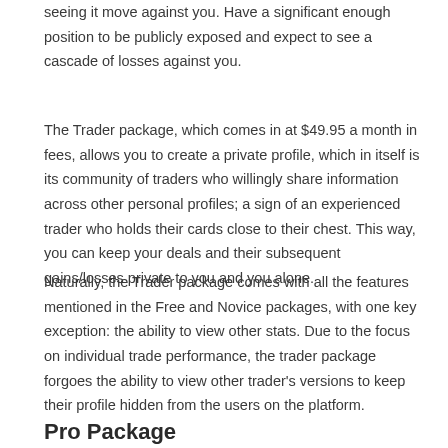seeing it move against you. Have a significant enough position to be publicly exposed and expect to see a cascade of losses against you.
The Trader package, which comes in at $49.95 a month in fees, allows you to create a private profile, which in itself is its community of traders who willingly share information across other personal profiles; a sign of an experienced trader who holds their cards close to their chest. This way, you can keep your deals and their subsequent gains/losses private to you and you alone.
Naturally, the Trader package comes with all the features mentioned in the Free and Novice packages, with one key exception: the ability to view other stats. Due to the focus on individual trade performance, the trader package forgoes the ability to view other trader's versions to keep their profile hidden from the users on the platform.
Pro Package